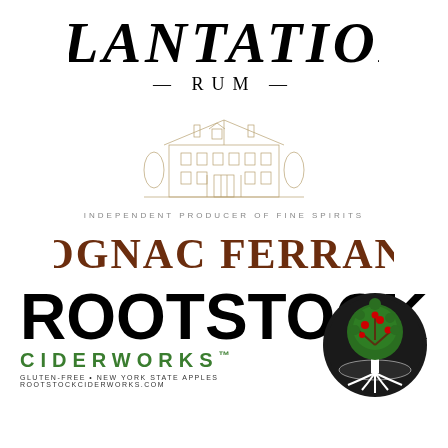[Figure (logo): Plantation Rum logo with large italic serif text 'PLANTATION' and '- RUM -' below in spaced capitals]
[Figure (logo): Cognac Ferrand logo with illustrated chateau/building, tagline 'INDEPENDENT PRODUCER OF FINE SPIRITS' in spaced small caps, and 'COGNAC FERRAND' in large brown serif text]
[Figure (logo): Rootstock Ciderworks logo with bold black sans-serif 'ROOTSTOCK', green 'CIDERWORKS' text, tagline 'GLUTEN-FREE • NEW YORK STATE APPLES ROOTSTOCKCIDERWORKS.COM', and circular tree illustration]